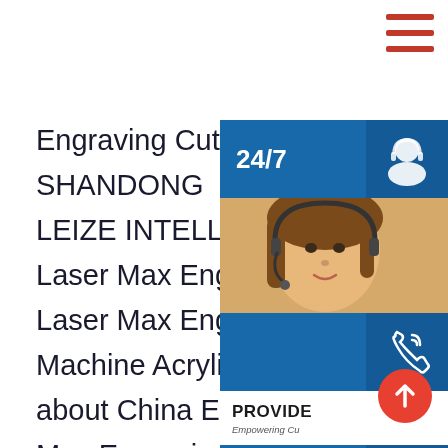[Figure (screenshot): Hamburger menu icon (three horizontal red lines) in top-right corner]
Engraving Cutting Wood Machine Engraver - SHANDONG LEIZE INTELLIGENT TECHNOLOGY CO., LT
Laser Max Engraving Machine Wood 9060
Laser Max Engraving Machine Wood 9060
Machine Acrylic Plastic CO2 Laser Engrave
about China Engraving Laser, Plastic Engr
Max Engraving Machine Wood 9060 laser
Machine Acrylic Plastic CO2 Laser Engrave
Max Machinery Tech Co., Ltd.sp.info Laser engraving/cutting machine QX-60-9060QX-60-9060 Laser Engraving/Cutting Machine. Laser-type:Sealed Glass. Laser power:60W (special order for 80 watt Glass Reci tube) Machine frame size:1070Tall x 1060Deep x 1360Wide mm. Machine fr
[Figure (infographic): Customer support overlay panel on right side: 24/7 blue button with headset icon, photo of woman with headset, phone/call blue button, PROVIDE strip with Empowering Customers text and Skype icon button, online live orange button]